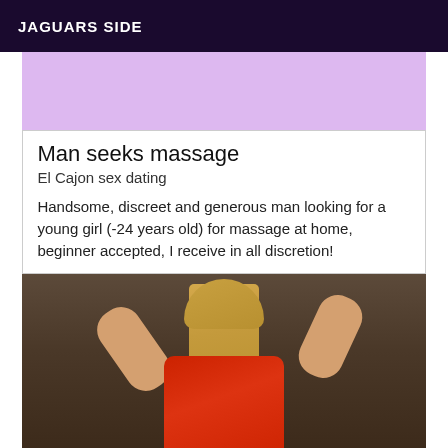JAGUARS SIDE
[Figure (other): Lavender/purple banner advertisement placeholder]
Man seeks massage
El Cajon sex dating
Handsome, discreet and generous man looking for a young girl (-24 years old) for massage at home, beginner accepted, I receive in all discretion!
[Figure (photo): Photo of a blonde woman in a red top with her hair up in a ponytail, arms raised behind her head, viewed from behind]